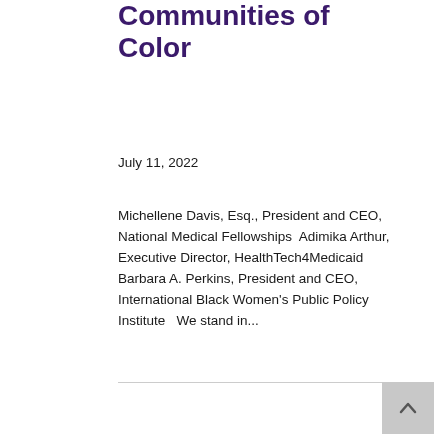Communities of Color
July 11, 2022
Michellene Davis, Esq., President and CEO, National Medical Fellowships  Adimika Arthur, Executive Director, HealthTech4Medicaid  Barbara A. Perkins, President and CEO, International Black Women's Public Policy Institute   We stand in...